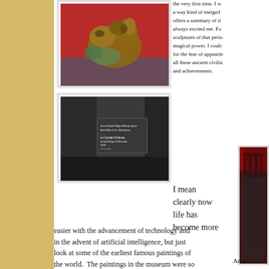[Figure (photo): Bronze/copper sculptural figure of a crouching animal or mythological creature against a vivid red background]
[Figure (photo): Dark museum room with an illuminated label/placard on the wall, text too small to read fully]
the very first time. I w a way kind of merged offers a summary of it always excited me. Fo sculptures of that perio magical power. I coulc for the fear of appearin all these ancient civiliz and achievements.
I mean clearly now life has become more easier with the advancement of technology and in the advent of artificial intelligence, but just look at some of the earliest famous paintings of the world.  The paintings in the museum were so good that some of them seemed photo-shopped Van Gogh
[Figure (photo): Partial view of a person wearing red and dark clothing, cropped on right side of page]
Amir